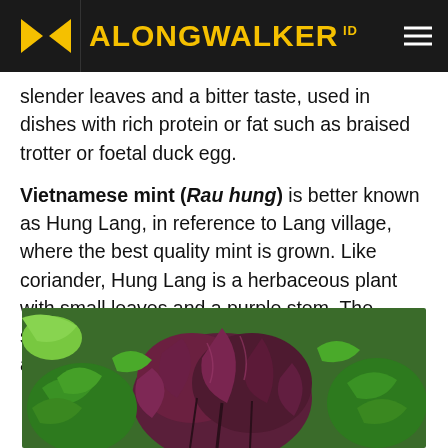ALONGWALKER ID
slender leaves and a bitter taste, used in dishes with rich protein or fat such as braised trotter or foetal duck egg.
Vietnamese mint (Rau hung) is better known as Hung Lang, in reference to Lang village, where the best quality mint is grown. Like coriander, Hung Lang is a herbaceous plant with small leaves and a purple stem. The special fragrant and fresh spice is used in almost every local dish and even drinks.
[Figure (photo): Photograph of mixed fresh herbs including purple-stemmed Vietnamese mint and other green herbs arranged together]